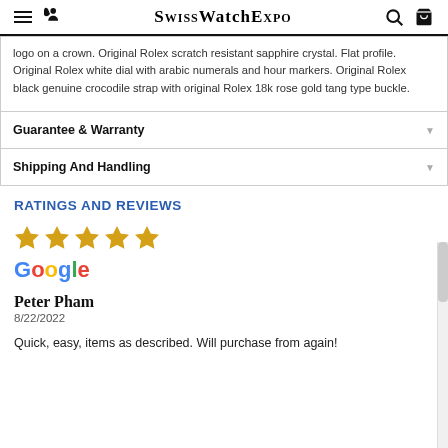SwissWatchExpo
logo on a crown. Original Rolex scratch resistant sapphire crystal. Flat profile. Original Rolex white dial with arabic numerals and hour markers. Original Rolex black genuine crocodile strap with original Rolex 18k rose gold tang type buckle.
Guarantee & Warranty
Shipping And Handling
RATINGS AND REVIEWS
[Figure (other): Five gold stars rating]
[Figure (logo): Google logo in multicolor]
Peter Pham
8/22/2022
Quick, easy, items as described. Will purchase from again!